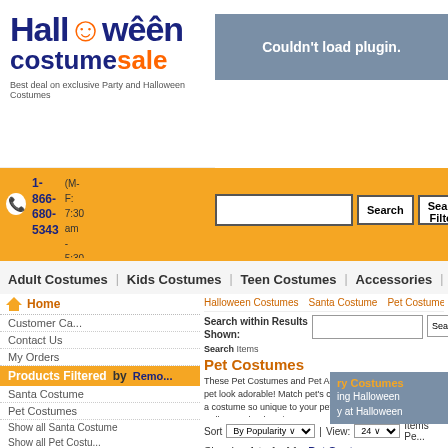[Figure (logo): Halloween Costume Sale logo with pumpkin icon and tagline 'Best deal on exclusive Party and Halloween Costumes']
[Figure (screenshot): Gray box with text 'Couldn't load plugin.']
1-866-680-5343 (M-F: 7:30 am - 5:30 pm)
Search | Search Filters
Adult Costumes | Kids Costumes | Teen Costumes | Accessories | Lingerie |
Home | Customer Ca... | Contact Us | My Orders
Halloween Costumes | Santa Costume | Pet Costumes | Friend
Search within Results Shown:
Search >> | Cle... | Items
Pet Costumes
Products Filtered by
Remo...
Santa Costume
Pet Costumes
Show all Santa Costume
Show all Pet Costu...
These Pet Costumes and Pet Accessories will make your pet look adorable! Match pet's costume to your own or pick a costume so unique to your pet! Have some fu... Halloween by dressing your pet up in a Pet Costume and Pet Accessories.
Sort By Popularity | View: 24 Items Pe...
Showing 1 to 1 of 1
Pet Costumes
CELEBRATION OCCASION
Christmas Costume (1)
ry Costumes
ing Halloween
y at Halloween